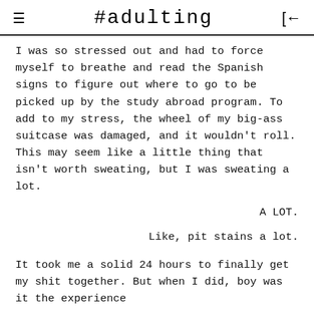#adulting
I was so stressed out and had to force myself to breathe and read the Spanish signs to figure out where to go to be picked up by the study abroad program. To add to my stress, the wheel of my big-ass suitcase was damaged, and it wouldn't roll. This may seem like a little thing that isn't worth sweating, but I was sweating a lot.
A LOT.
Like, pit stains a lot.
It took me a solid 24 hours to finally get my shit together. But when I did, boy was it the experience